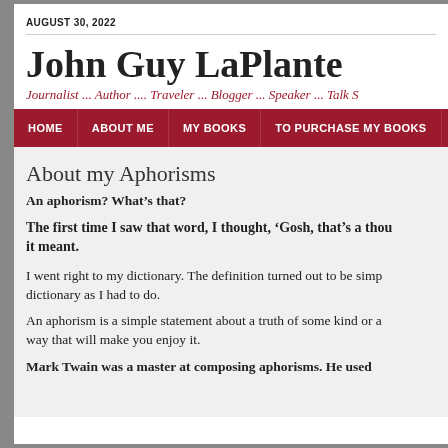AUGUST 30, 2022
John Guy LaPlante
Journalist ... Author .... Traveler ... Blogger ... Speaker ... Talk S
HOME | ABOUT ME | MY BOOKS | TO PURCHASE MY BOOKS | T
About my Aphorisms
An aphorism? What’s that?
The first time I saw that word, I thought, ‘Gosh, that’s a thou… it meant.
I went right to my dictionary. The definition turned out to be simp… dictionary as I had to do.
An aphorism is a simple statement about a truth of some kind or a… way that will make you enjoy it.
Mark Twain was a master at composing aphorisms. He used…